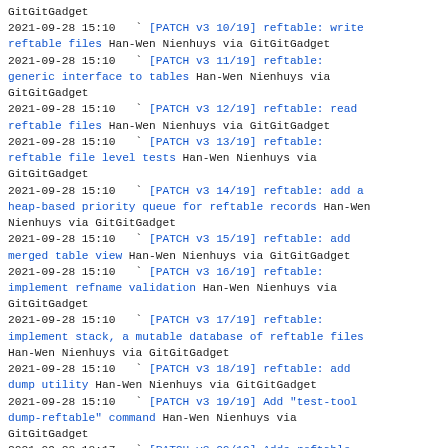GitGitGadget
2021-09-28 15:10   ` [PATCH v3 10/19] reftable: write reftable files Han-Wen Nienhuys via GitGitGadget
2021-09-28 15:10   ` [PATCH v3 11/19] reftable: generic interface to tables Han-Wen Nienhuys via GitGitGadget
2021-09-28 15:10   ` [PATCH v3 12/19] reftable: read reftable files Han-Wen Nienhuys via GitGitGadget
2021-09-28 15:10   ` [PATCH v3 13/19] reftable: reftable file level tests Han-Wen Nienhuys via GitGitGadget
2021-09-28 15:10   ` [PATCH v3 14/19] reftable: add a heap-based priority queue for reftable records Han-Wen Nienhuys via GitGitGadget
2021-09-28 15:10   ` [PATCH v3 15/19] reftable: add merged table view Han-Wen Nienhuys via GitGitGadget
2021-09-28 15:10   ` [PATCH v3 16/19] reftable: implement refname validation Han-Wen Nienhuys via GitGitGadget
2021-09-28 15:10   ` [PATCH v3 17/19] reftable: implement stack, a mutable database of reftable files Han-Wen Nienhuys via GitGitGadget
2021-09-28 15:10   ` [PATCH v3 18/19] reftable: add dump utility Han-Wen Nienhuys via GitGitGadget
2021-09-28 15:10   ` [PATCH v3 19/19] Add "test-tool dump-reftable" command Han-Wen Nienhuys via GitGitGadget
2021-09-28 18:17   ` [PATCH v3 00/19] Adds reftable library code from https://github.com/hanwen/reftable Junio C Hamano